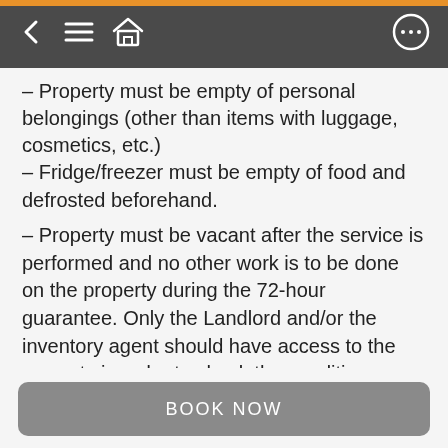Navigation bar with back, menu, home, and chat icons
– Property must be empty of personal belongings (other than items with luggage, cosmetics, etc.)
– Fridge/freezer must be empty of food and defrosted beforehand.
– Property must be vacant after the service is performed and no other work is to be done on the property during the 72-hour guarantee. Only the Landlord and/or the inventory agent should have access to the property in order to check the condition.
LAW
15.1 These Terms are governed by the laws of England and Wales, and are subject to the exclusive jurisdiction of the Courts of England, and Wales.
15.2 These Terms and Conditions are in regulation of the Consumer Rights Act 2015 and are not in imbalance in the parties rights or obligations under the
BOOK NOW